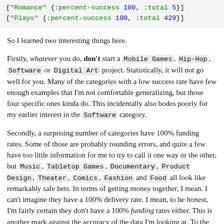[Figure (screenshot): Code snippet showing two lines: ["Romance" {:percent-success 100, :total 5}] and ["Plays" {:percent-success 100, :total 429}]]
So I learned two interesting things here.
Firstly, whatever you do, don't start a Mobile Games, Hip-Hop, Software or Digital Art project. Statistically, it will not go well for you. Many of the categories with a low success rate have few enough examples that I'm not comfortable generalizing, but those four specific ones kinda do. This incidentally also bodes poorly for my earlier interest in the Software category.
Secondly, a surprising number of categories have 100% funding rates. Some of those are probably rounding errors, and quite a few have too little information for me to try to call it one way or the other, but Music, Tabletop Games, Documentary, Product Design, Theater, Comics, Fashion and Food all look like remarkably safe bets. In terms of getting money together, I mean. I can't imagine they have a 100% delivery rate. I mean, to be honest, I'm fairly certain they don't have a 100% funding rates either. This is another mark against the accuracy of the data I'm looking at. To the point that I'm convinced I'd damn...